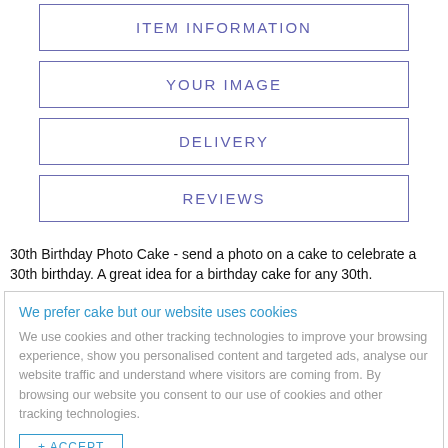ITEM INFORMATION
YOUR IMAGE
DELIVERY
REVIEWS
30th Birthday Photo Cake - send a photo on a cake to celebrate a 30th birthday. A great idea for a birthday cake for any 30th.
We prefer cake but our website uses cookies

We use cookies and other tracking technologies to improve your browsing experience, show you personalised content and targeted ads, analyse our website traffic and understand where visitors are coming from. By browsing our website you consent to our use of cookies and other tracking technologies.

ACCEPT